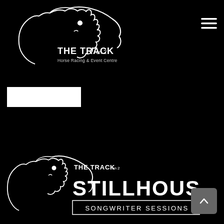[Figure (logo): The Track on 2 horse racing and event centre logo — white horse head with flowing mane and tagline 'THE TRACK on 2 Horse Racing & Event Centre' on black background]
[Figure (other): White rectangular button/bar beneath the top logo]
Tickets
[Figure (logo): The Track on 2 Stillhouse Songwriter Sessions logo — white horse head with 'THE TRACK on 2' above large 'STILLHOUSE' text and 'SONGWRITER SESSIONS' in a bordered rectangle on black background]